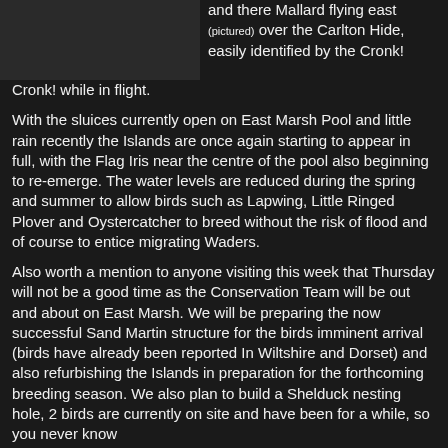[Figure (photo): Dark/black image placeholder in upper left corner]
and there Mallard flying east (pictured) over the Carlton Hide, easily identified by the Cronk! Cronk! while in flight.
With the sluices currently open on East Marsh Pool and little rain recently the Islands are once again starting to appear in full, with the Flag Iris near the centre of the pool also beginning to re-emerge. The water levels are reduced during the spring and summer to allow birds such as Lapwing, Little Ringed Plover and Oystercatcher to breed without the risk of flood and of course to entice migrating Waders.
Also worth a mention to anyone visiting this week that Thursday will not be a good time as the Conservation Team will be out and about on East Marsh. We will be preparing the now successful Sand Martin structure for the birds imminent arrival (birds have already been reported In Wiltshire and Dorset) and also refurbishing the Islands in preparation for the forthcoming breeding season. We also plan to build a Shelduck nesting hole, 2 birds are currently on site and have been for a while, so you never know